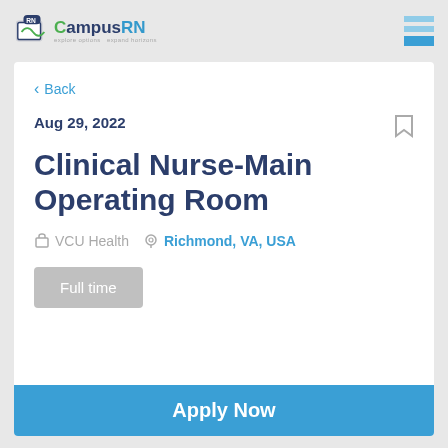CampusRN — explore options, expand horizons
< Back
Aug 29, 2022
Clinical Nurse-Main Operating Room
VCU Health   Richmond, VA, USA
Full time
Apply Now